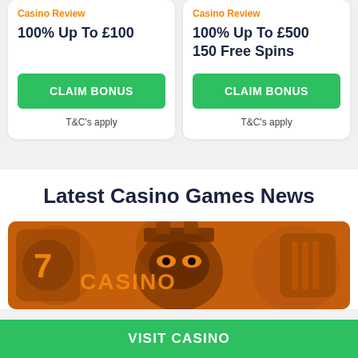Casino Review
100% Up To £100
CLAIM BONUS
T&C's apply
Casino Review
100% Up To £500 150 Free Spins
CLAIM BONUS
T&C's apply
Latest Casino Games News
[Figure (photo): Casino games themed banner image with orange/dark tinted arcade slot machine graphics and masked face artwork]
VISIT CASINO